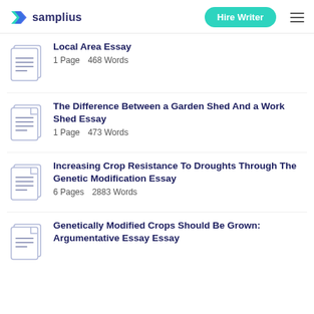samplius | Hire Writer
Local Area Essay
1 Page  468 Words
The Difference Between a Garden Shed And a Work Shed Essay
1 Page  473 Words
Increasing Crop Resistance To Droughts Through The Genetic Modification Essay
6 Pages  2883 Words
Genetically Modified Crops Should Be Grown: Argumentative Essay Essay